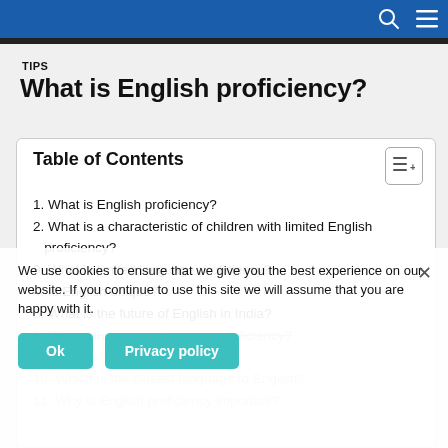TIPS
What is English proficiency?
Table of Contents
1. What is English proficiency?
2. What is a characteristic of children with limited English proficiency?
3. What is limited language proficiency?
4. Is English unique?
5. What is the future of English in India?
6. What causes poor language proficiency?
9. Is English a pure language?
10. Which is the closest language to English?
11. Why is English proficiency important?
We use cookies to ensure that we give you the best experience on our website. If you continue to use this site we will assume that you are happy with it.